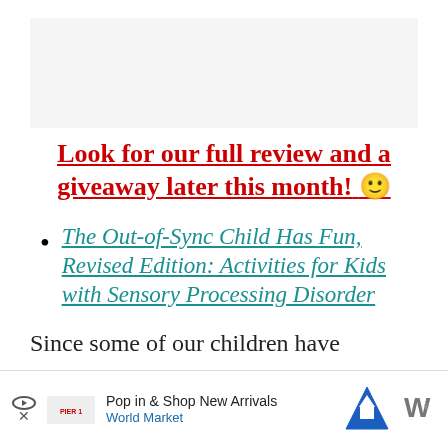[Figure (other): Promotional image area at top of page (partially visible, light gray background)]
Look for our full review and a giveaway later this month! 🙂
The Out-of-Sync Child Has Fun, Revised Edition: Activities for Kids with Sensory Processing Disorder
Since some of our children have sensory pro...ra
[Figure (other): Advertisement banner: Pop in & Shop New Arrivals - World Market, with play/close buttons and navigation icon]